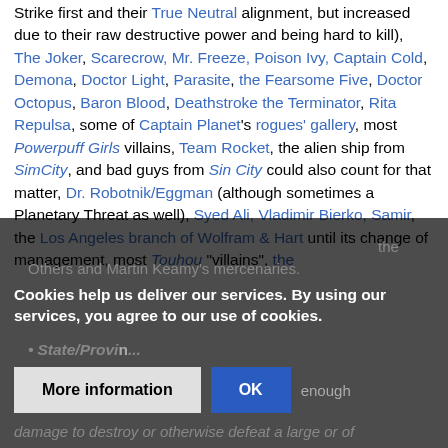Strike first and their True Neutral alignment, but increased due to their raw destructive power and being hard to kill), The Joker, Scarecrow, Mr. Freeze, Poison Ivy, Captain Cold, Demona, Doctor Light, Parasite, the Fearsome Five, Doctor Octopus, Baron Blood, Deathstroke the Terminator, Rita Repulsa, some of Captain Planet's rogues' gallery, most Powerpuff Girls villains, Team Rocket, the alien ship from SimCity, and bad guys from Sin City could also count for that matter, Dr. Robotnik/Eggman (although sometimes a Planetary Threat as well), Syed Ali, Vladimir Bierko, Samir, the Los Angeles branch of Wolfram & Hart until its change of management, most Touhou "villains", the
Others and Martin Keamy's mercenaries.
State/Provin... enough damage to destroy or otherwise defeat a large or of